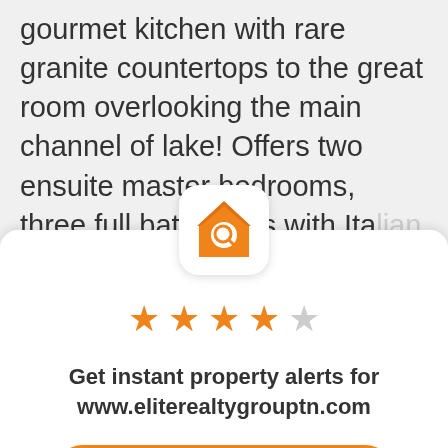gourmet kitchen with rare granite countertops to the great room overlooking the main channel of lake! Offers two ensuite master bedrooms, three full bathrooms with Ita[lian sto]ne and jetted bathtub. Includes t[wo roo]ms for your home...
[Figure (logo): Orange house-with-magnifying-glass real estate app icon on white rounded square background]
[Figure (infographic): 4 filled orange stars and 1 empty grey star rating display]
Get instant property alerts for www.eliterealtygrouptn.com
Get the MoveTo App
Not Now